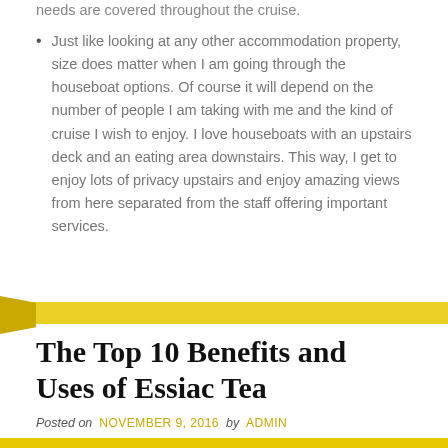needs are covered throughout the cruise.
Just like looking at any other accommodation property, size does matter when I am going through the houseboat options. Of course it will depend on the number of people I am taking with me and the kind of cruise I wish to enjoy. I love houseboats with an upstairs deck and an eating area downstairs. This way, I get to enjoy lots of privacy upstairs and enjoy amazing views from here separated from the staff offering important services.
The Top 10 Benefits and Uses of Essiac Tea
Posted on NOVEMBER 9, 2016 by ADMIN